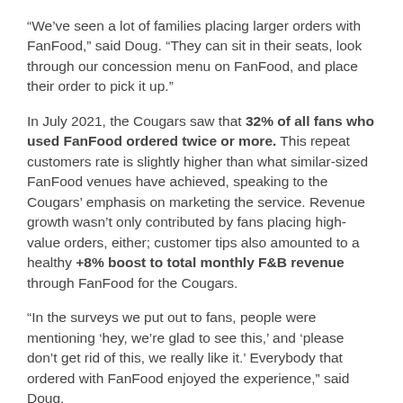“We’ve seen a lot of families placing larger orders with FanFood,” said Doug. “They can sit in their seats, look through our concession menu on FanFood, and place their order to pick it up.”
In July 2021, the Cougars saw that 32% of all fans who used FanFood ordered twice or more. This repeat customers rate is slightly higher than what similar-sized FanFood venues have achieved, speaking to the Cougars’ emphasis on marketing the service. Revenue growth wasn’t only contributed by fans placing high-value orders, either; customer tips also amounted to a healthy +8% boost to total monthly F&B revenue through FanFood for the Cougars.
“In the surveys we put out to fans, people were mentioning ‘hey, we’re glad to see this,’ and ‘please don’t get rid of this, we really like it.’ Everybody that ordered with FanFood enjoyed the experience,” said Doug.